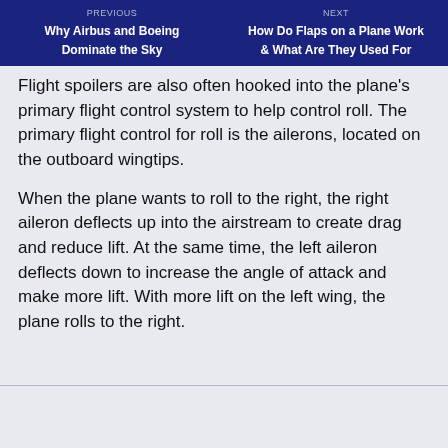PREVIOUS: Why Airbus and Boeing Dominate the Sky | NEXT: How Do Flaps on a Plane Work & What Are They Used For
Flight spoilers are also often hooked into the plane's primary flight control system to help control roll. The primary flight control for roll is the ailerons, located on the outboard wingtips.
When the plane wants to roll to the right, the right aileron deflects up into the airstream to create drag and reduce lift. At the same time, the left aileron deflects down to increase the angle of attack and make more lift. With more lift on the left wing, the plane rolls to the right.